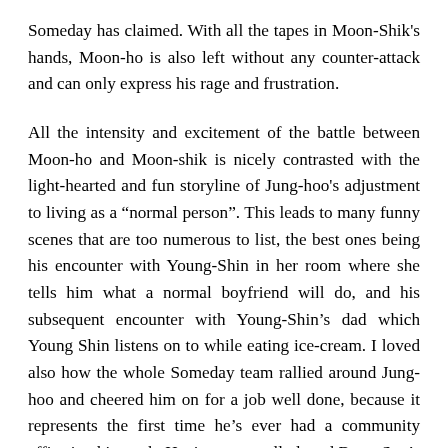Someday has claimed. With all the tapes in Moon-Shik's hands, Moon-ho is also left without any counter-attack and can only express his rage and frustration.
All the intensity and excitement of the battle between Moon-ho and Moon-shik is nicely contrasted with the light-hearted and fun storyline of Jung-hoo's adjustment to living as a "normal person". This leads to many funny scenes that are too numerous to list, the best ones being his encounter with Young-Shin in her room where she tells him what a normal boyfriend will do, and his subsequent encounter with Young-Shin's dad which Young Shin listens on to while eating ice-cream. I loved also how the whole Someday team rallied around Jung-hoo and cheered him on for a job well done, because it represents the first time he's ever had a community affirming his work. Having personally loved Bong-Soo's